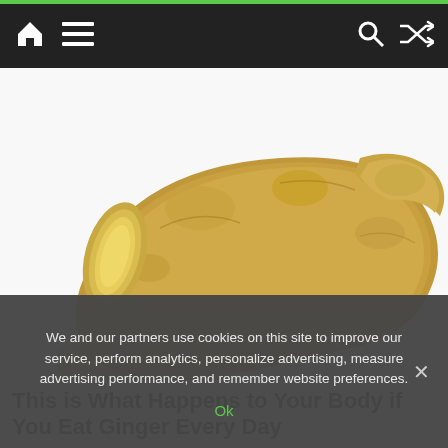Navigation bar with home icon, menu icon, search icon, shuffle icon
[Figure (photo): Sliced fresh ginger root on white background, showing cross-sections and the whole root piece]
This is What Happens to Your Body if You Eat Ginger Every Day
We and our partners use cookies on this site to improve our service, perform analytics, personalize advertising, measure advertising performance, and remember website preferences.
Ok